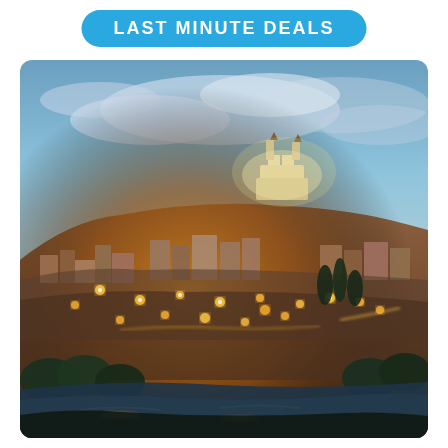LAST MINUTE DEALS
[Figure (photo): Aerial panoramic view of Toledo, Spain at dusk/twilight, showing the illuminated ancient city with the Alcázar fortress prominently on the hilltop, warm golden street lights throughout the cityscape, river (Tagus) visible at the bottom surrounded by dark trees, dramatic cloudy blue sky above.]